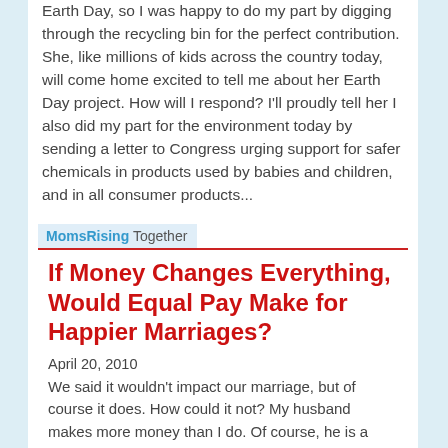Earth Day, so I was happy to do my part by digging through the recycling bin for the perfect contribution. She, like millions of kids across the country today, will come home excited to tell me about her Earth Day project. How will I respond? I'll proudly tell her I also did my part for the environment today by sending a letter to Congress urging support for safer chemicals in products used by babies and children, and in all consumer products...
MomsRising Together
If Money Changes Everything, Would Equal Pay Make for Happier Marriages?
April 20, 2010
We said it wouldn't impact our marriage, but of course it does. How could it not? My husband makes more money than I do. Of course, he is a financial services consultant, and I work in feminist advocacy – so we saw this coming. We thought we were prepared. We had a plan. Before kids, we